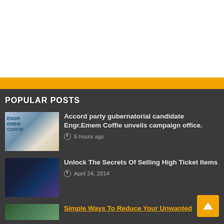[Figure (other): White advertisement/banner area with orange bottom border]
POPULAR POSTS
[Figure (photo): Photo of Accord party campaign office with man in cap]
Accord party gubernatorial candidate Engr.Emem Coffie unveils campaign office.
6 hours ago
[Figure (photo): Dark photo of two people at night]
Unlock The Secrets Of Selling High Ticket Items
April 24, 2014
[Figure (photo): Partially visible photo (bottom of page)]
Simple Ways To Reduce Your Unwanted